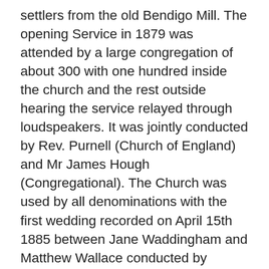settlers from the old Bendigo Mill. The opening Service in 1879 was attended by a large congregation of about 300 with one hundred inside the church and the rest outside hearing the service relayed through loudspeakers. It was jointly conducted by Rev. Purnell (Church of England) and Mr James Hough (Congregational). The Church was used by all denominations with the first wedding recorded on April 15th 1885 between Jane Waddingham and Matthew Wallace conducted by Methodist Rev. Morland. Renovations in the 1920's were carried out by Mr Russell Fowler (Honorary Minister of Bunbury Congregational Church) and his community helpers.The plaque on the front of the Church names the Church as St Aidan's, Church of England –Congregational – Presbyterian Church, 1953. Aidan was an Irish monk of Lindisfarne who became abishop in northern England and died in 651 A.D. He was known for his gentleness, asceticism andkindness to the poor as well as it that he was always full of a...